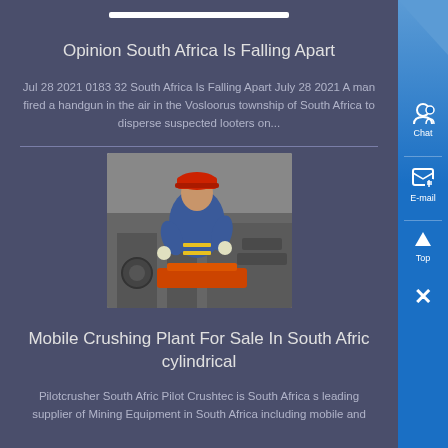[Figure (other): White search bar at the top center]
Opinion South Africa Is Falling Apart
Jul 28 2021 0183 32 South Africa Is Falling Apart July 28 2021 A man fired a handgun in the air in the Vosloorus township of South Africa to disperse suspected looters on...
[Figure (photo): A worker wearing a red hard hat and blue overalls working with industrial machinery]
Mobile Crushing Plant For Sale In South Afric cylindrical
Pilotcrusher South Afric Pilot Crushtec is South Africa s leading supplier of Mining Equipment in South Africa including mobile and